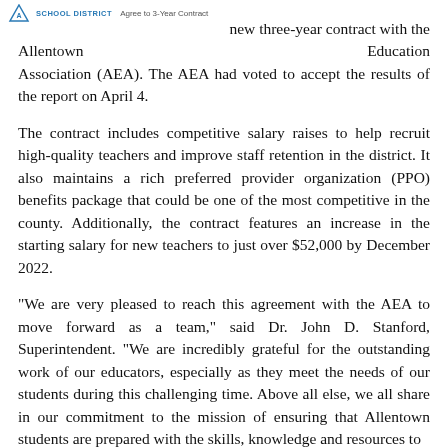SCHOOL DISTRICT   Agree to 3-Year Contract
new three-year contract with the Allentown Education Association (AEA). The AEA had voted to accept the results of the report on April 4.
The contract includes competitive salary raises to help recruit high-quality teachers and improve staff retention in the district. It also maintains a rich preferred provider organization (PPO) benefits package that could be one of the most competitive in the county. Additionally, the contract features an increase in the starting salary for new teachers to just over $52,000 by December 2022.
“We are very pleased to reach this agreement with the AEA to move forward as a team,” said Dr. John D. Stanford, Superintendent. “We are incredibly grateful for the outstanding work of our educators, especially as they meet the needs of our students during this challenging time. Above all else, we all share in our commitment to the mission of ensuring that Allentown students are prepared with the skills, knowledge and resources to